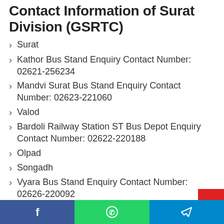Contact Information of Surat Division (GSRTC)
Surat
Kathor Bus Stand Enquiry Contact Number: 02621-256234
Mandvi Surat Bus Stand Enquiry Contact Number: 02623-221060
Valod
Bardoli Railway Station ST Bus Depot Enquiry Contact Number: 02622-220188
Olpad
Songadh
Vyara Bus Stand Enquiry Contact Number: 02626-220092